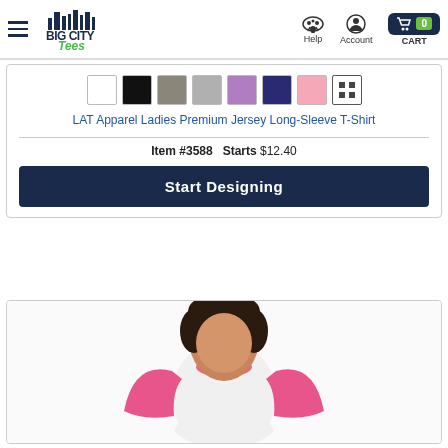Big City Tees — Help | Account | CART 0
[Figure (screenshot): Color swatches row: white, black, taupe, gray, purple, navy, pink, and a grid/pattern icon]
LAT Apparel Ladies Premium Jersey Long-Sleeve T-Shirt
Item #3588   Starts $12.40
Start Designing
[Figure (photo): Woman wearing a pink and white raglan long-sleeve baseball t-shirt]